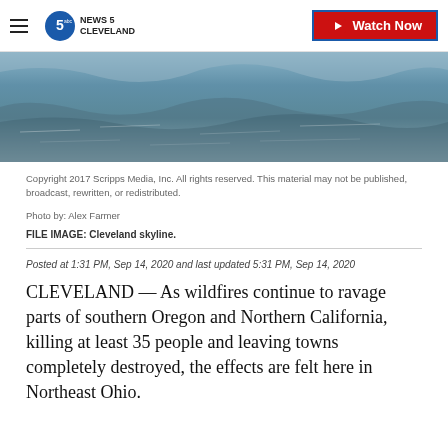NEWS 5 CLEVELAND — Watch Now
[Figure (photo): Water/river scene photo, cropped to show rushing water surface from above]
Copyright 2017 Scripps Media, Inc. All rights reserved. This material may not be published, broadcast, rewritten, or redistributed.
Photo by: Alex Farmer
FILE IMAGE: Cleveland skyline.
Posted at 1:31 PM, Sep 14, 2020 and last updated 5:31 PM, Sep 14, 2020
CLEVELAND — As wildfires continue to ravage parts of southern Oregon and Northern California, killing at least 35 people and leaving towns completely destroyed, the effects are felt here in Northeast Ohio.